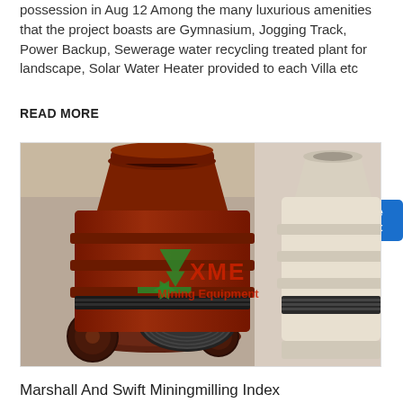possession in Aug 12 Among the many luxurious amenities that the project boasts are Gymnasium, Jogging Track, Power Backup, Sewerage water recycling treated plant for landscape, Solar Water Heater provided to each Villa etc
READ MORE
[Figure (photo): Industrial mining equipment (cone crushers) - large red/brown heavy machinery in a warehouse setting, with a watermark 'XME Mining Equipment' in green]
Marshall And Swift Miningmilling Index